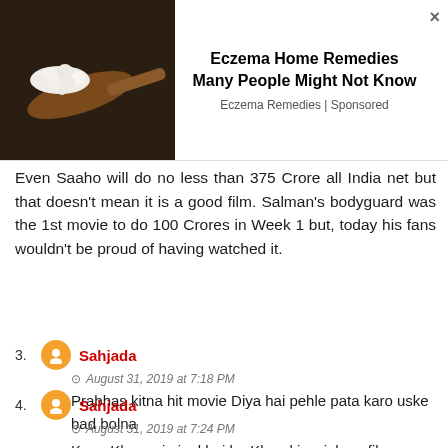[Figure (photo): Advertisement banner with photo of cottage cheese on a wooden spoon against dark background. Ad title: Eczema Home Remedies Many People Might Not Know. Source: Eczema Remedies | Sponsored.]
Even Saaho will do no less than 375 Crore all India net but that doesn't mean it is a good film. Salman's bodyguard was the 1st movie to do 100 Crores in Week 1 but, today his fans wouldn't be proud of having watched it.
3. Sahjada — August 31, 2019 at 7:18 PM — Prabhas kitna hit movie Diya hai pehle pata karo uske bad bolna
4. Sahjada — August 31, 2019 at 7:24 PM — Koun Khan criminal hai be Khan ki wajah se film industry chalta hai,crimnal hinge ghative south